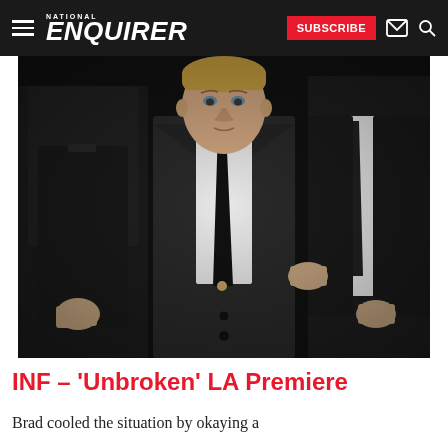NATIONAL ENQUIRER | SUBSCRIBE
[Figure (photo): Child in dark suit with black tie at a movie premiere, flanked by adults in dark suits, photographed against a dark background at the 'Unbroken' LA Premiere]
INF – 'Unbroken' LA Premiere
Brad cooled the situation by okaying a